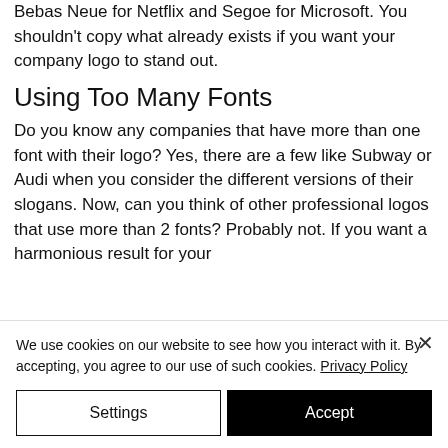Bebas Neue for Netflix and Segoe for Microsoft. You shouldn't copy what already exists if you want your company logo to stand out.
Using Too Many Fonts
Do you know any companies that have more than one font with their logo? Yes, there are a few like Subway or Audi when you consider the different versions of their slogans. Now, can you think of other professional logos that use more than 2 fonts? Probably not. If you want a harmonious result for your
We use cookies on our website to see how you interact with it. By accepting, you agree to our use of such cookies. Privacy Policy